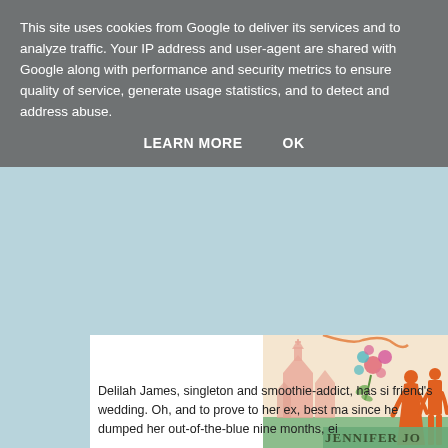This site uses cookies from Google to deliver its services and to analyze traffic. Your IP address and user-agent are shared with Google along with performance and security metrics to ensure quality of service, generate usage statistics, and to detect and address abuse.
LEARN MORE    OK
[Figure (illustration): Book cover illustration showing orange silhouettes of a couple (woman in dress, man) against a pastel background with a church/cathedral, floral decorations in pink, teal, and green. Author name 'JENNIFER JO' visible at bottom.]
Delilah James, singleton and smoothie-addict, has si friend's wedding. Oh, and to prove to her ex, best ma since he dumped her out-of-the-blue nine months, ei